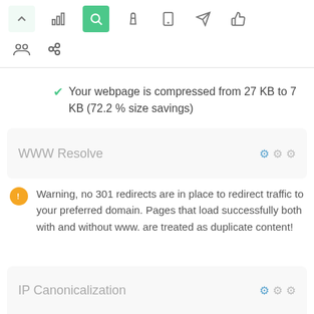[Figure (screenshot): Toolbar with navigation icons: up arrow (light green background), bar chart, search (active, green background), hand/cursor, mobile, location arrow, thumbs up icons]
[Figure (screenshot): Secondary toolbar row with people/group icon and link/chain icon]
✔ Your webpage is compressed from 27 KB to 7 KB (72.2 % size savings)
WWW Resolve
Warning, no 301 redirects are in place to redirect traffic to your preferred domain. Pages that load successfully both with and without www. are treated as duplicate content!
IP Canonicalization